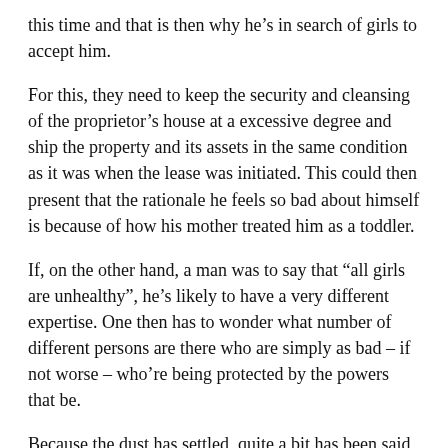this time and that is then why he's in search of girls to accept him.
For this, they need to keep the security and cleansing of the proprietor's house at a excessive degree and ship the property and its assets in the same condition as it was when the lease was initiated. This could then present that the rationale he feels so bad about himself is because of how his mother treated him as a toddler.
If, on the other hand, a man was to say that “all girls are unhealthy”, he’s likely to have a very different expertise. One then has to wonder what number of different persons are there who are simply as bad – if not worse – who’re being protected by the powers that be.
Because the dust has settled, quite a bit has been said about how this shows how unhealthy males are as a whole. What is fascinating about all this is that a number of the men who’ve been accused supported Hillary Clinton over the last